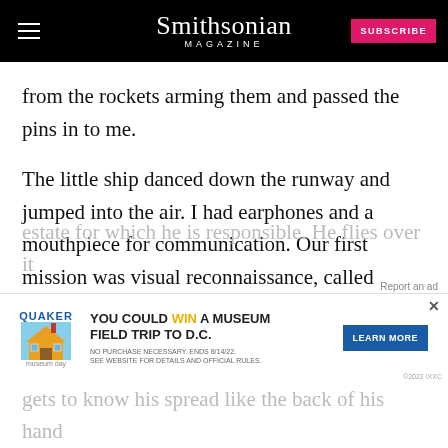Smithsonian MAGAZINE
from the rockets arming them and passed the pins in to me.
The little ship danced down the runway and jumped into the air. I had earphones and a mouthpiece for communication. Our first mission was visual reconnaissance, called naturally VR, and it is unique and fascinating work. Each FAC man has a sizable piece of real
estate for which he is responsible. He flies over it every
[Figure (screenshot): Quaker advertisement banner: YOU COULD WIN A MUSEUM FIELD TRIP TO D.C. with LEARN MORE button]
y. He gets to know his spread like the back of his hand